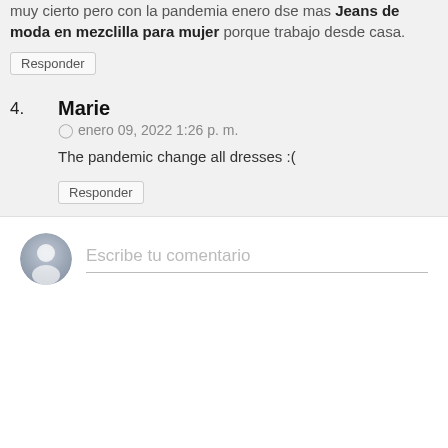muy cierto pero con la pandemia enero dse mas Jeans de moda en mezclilla para mujer porque trabajo desde casa.
Responder
4. Marie
enero 09, 2022 1:26 p. m.
The pandemic change all dresses :(
Responder
Escribe tu comentario